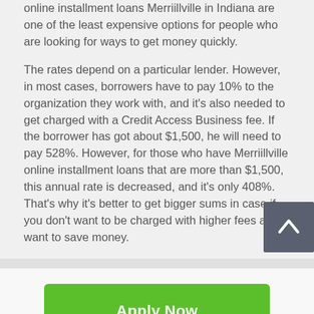online installment loans Merriillville in Indiana are one of the least expensive options for people who are looking for ways to get money quickly.
The rates depend on a particular lender. However, in most cases, borrowers have to pay 10% to the organization they work with, and it's also needed to get charged with a Credit Access Business fee. If the borrower has got about $1,500, he will need to pay 528%. However, for those who have Merriillville online installment loans that are more than $1,500, this annual rate is decreased, and it's only 408%. That's why it's better to get bigger sums in case if you don't want to be charged with higher fees and want to save money.
Apply Now
Applying does NOT affect your credit score!
No credit check to apply.